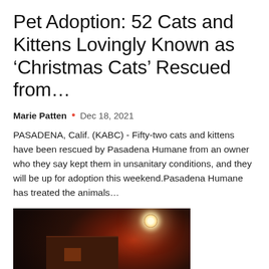Pet Adoption: 52 Cats and Kittens Lovingly Known as ‘Christmas Cats’ Rescued from…
Marie Patten • Dec 18, 2021
PASADENA, Calif. (KABC) - Fifty-two cats and kittens have been rescued by Pasadena Humane from an owner who they say kept them in unsanitary conditions, and they will be up for adoption this weekend.Pasadena Humane has treated the animals…
[Figure (photo): Night scene showing firefighters or emergency responders standing in front of a building illuminated by red and white floodlights in misty conditions]